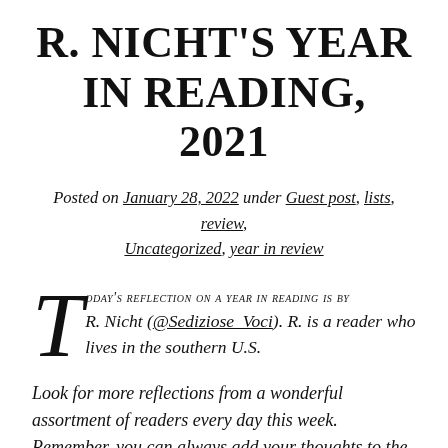R. NICHT'S YEAR IN READING, 2021
Posted on January 28, 2022 under Guest post, lists, review, Uncategorized, year in review
TODAY'S REFLECTION ON A YEAR IN READING IS BY R. Nicht (@Sediziose_Voci). R. is a reader who lives in the southern U.S.
Look for more reflections from a wonderful assortment of readers every day this week. Remember, you can always add your thoughts to the mix. Just let